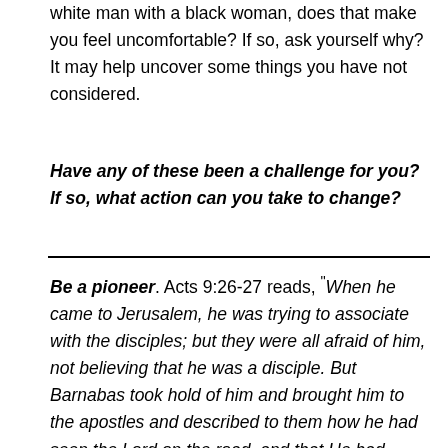white man with a black woman, does that make you feel uncomfortable? If so, ask yourself why? It may help uncover some things you have not considered.
Have any of these been a challenge for you? If so, what action can you take to change?
Be a pioneer. Acts 9:26-27 reads, "When he came to Jerusalem, he was trying to associate with the disciples; but they were all afraid of him, not believing that he was a disciple. But Barnabas took hold of him and brought him to the apostles and described to them how he had seen the Lord on the road, and that He had talked to him, and how at Damascus he